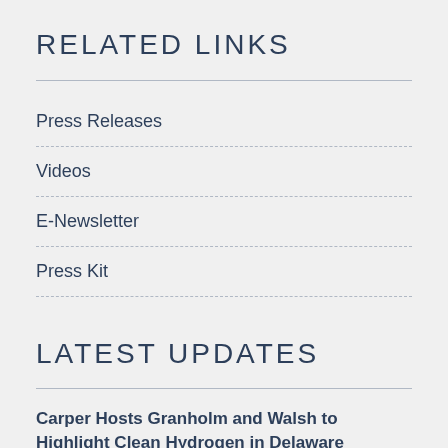RELATED LINKS
Press Releases
Videos
E-Newsletter
Press Kit
LATEST UPDATES
Carper Hosts Granholm and Walsh to Highlight Clean Hydrogen in Delaware